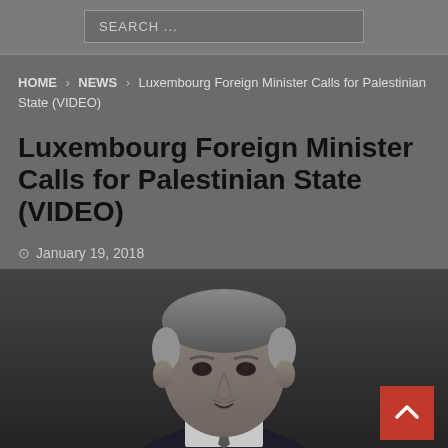SEARCH ...
HOME > NEWS > Luxembourg Foreign Minister Calls for Palestinian State (VIDEO)
Luxembourg Foreign Minister Calls for Palestinian State (VIDEO)
January 19, 2018
[Figure (photo): Photo of a middle-aged man with gray hair and mustache wearing a dark suit, photographed against a dark background]